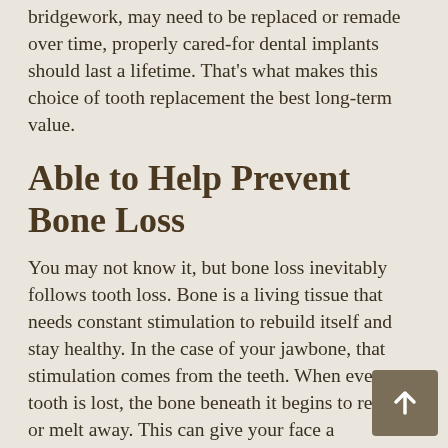bridgework, may need to be replaced or remade over time, properly cared-for dental implants should last a lifetime. That's what makes this choice of tooth replacement the best long-term value.
Able to Help Prevent Bone Loss
You may not know it, but bone loss inevitably follows tooth loss. Bone is a living tissue that needs constant stimulation to rebuild itself and stay healthy. In the case of your jawbone, that stimulation comes from the teeth. When even one tooth is lost, the bone beneath it begins to resorb, or melt away. This can give your face a prematurely aged appearance and even leave your jaw more